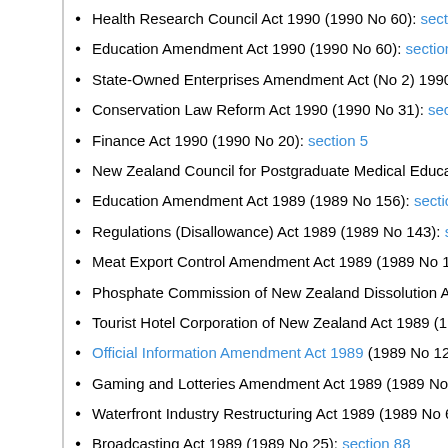Health Research Council Act 1990 (1990 No 60): section 50...
Education Amendment Act 1990 (1990 No 60): section 50(1),
State-Owned Enterprises Amendment Act (No 2) 1990 (1990...
Conservation Law Reform Act 1990 (1990 No 31): section 37
Finance Act 1990 (1990 No 20): section 5
New Zealand Council for Postgraduate Medical Education Ac...
Education Amendment Act 1989 (1989 No 156): section 49(6...
Regulations (Disallowance) Act 1989 (1989 No 143): section...
Meat Export Control Amendment Act 1989 (1989 No 132): se...
Phosphate Commission of New Zealand Dissolution Act 1989...
Tourist Hotel Corporation of New Zealand Act 1989 (1989 No...
Official Information Amendment Act 1989 (1989 No 122)
Gaming and Lotteries Amendment Act 1989 (1989 No 118): s...
Waterfront Industry Restructuring Act 1989 (1989 No 66): sec...
Broadcasting Act 1989 (1989 No 25): section 88